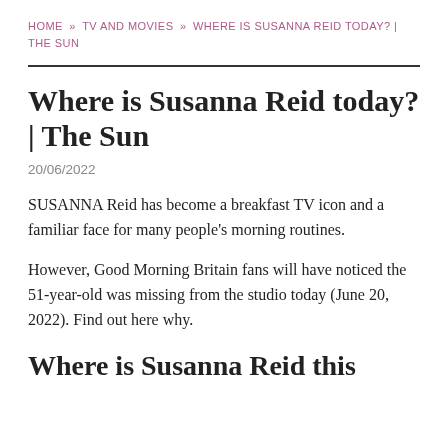HOME » TV AND MOVIES » WHERE IS SUSANNA REID TODAY? | THE SUN
Where is Susanna Reid today? | The Sun
20/06/2022
SUSANNA Reid has become a breakfast TV icon and a familiar face for many people's morning routines.
However, Good Morning Britain fans will have noticed the 51-year-old was missing from the studio today (June 20, 2022). Find out here why.
Where is Susanna Reid this